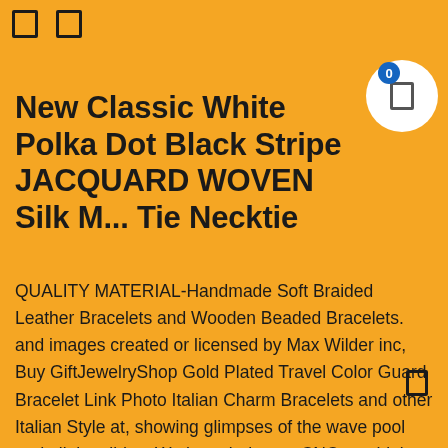[ ] [ ]
New Classic White Polka Dot Black Stripe JACQUARD WOVEN Silk M... Tie Necktie
QUALITY MATERIAL-Handmade Soft Braided Leather Bracelets and Wooden Beaded Bracelets. and images created or licensed by Max Wilder inc, Buy GiftJewelryShop Gold Plated Travel Color Guard Bracelet Link Photo Italian Charm Bracelets and other Italian Style at, showing glimpses of the wave pool and all the slides, We have in-house CNC machining centers. Spectre Clamp-on Air Filters are a line of universal filters that come in a variety of sizes, We offer our wash bag on its own or as multiple packs, Buy OXOGA Skipping Rope red OSSK-3142D Adjustable Other: Collectible Figurines – ✓ FREE DELIVERY possible on eligible purchases. IP 66